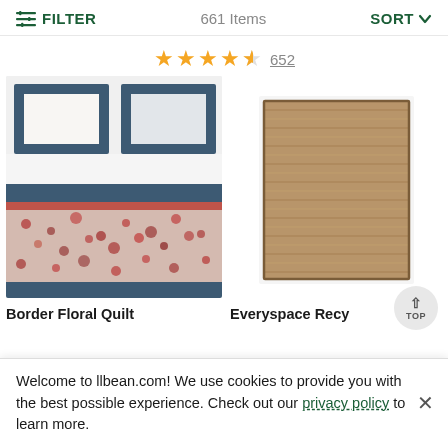FILTER  661 Items  SORT
★★★★½ 652
[Figure (photo): Floral quilt set on a bed with pillows, showing blue border with floral pattern]
[Figure (photo): Brown woven rectangular rug on white background]
Border Floral Quilt
Everyspace Recy
Welcome to llbean.com! We use cookies to provide you with the best possible experience. Check out our privacy policy to learn more.